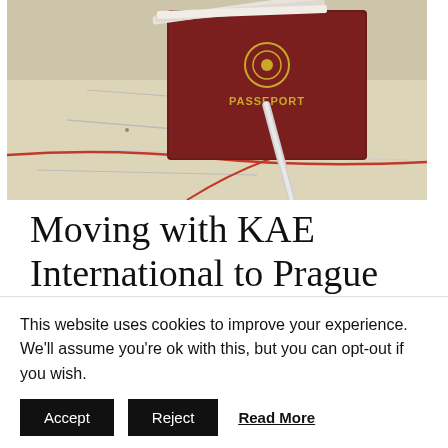[Figure (photo): A photo showing a burgundy/dark red passport labeled 'PASSEPORT' with a gold emblem, lying on top of a paper road map with red and gray lines, alongside white/silver pen or pencil.]
Moving with KAE International to Prague and Czech Republic: What...
This website uses cookies to improve your experience. We'll assume you're ok with this, but you can opt-out if you wish.